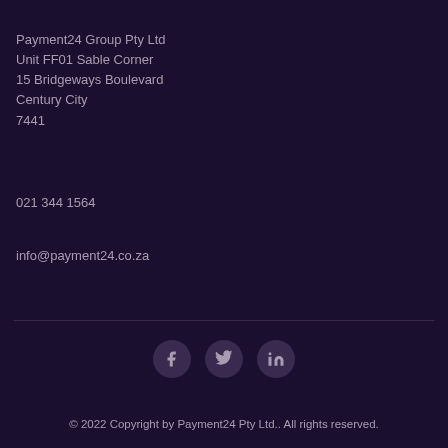Payment24 Group Pty Ltd
Unit FF01 Sable Corner
15 Bridgeways Boulevard
Century City
7441
021 344 1564
info@payment24.co.za
[Figure (other): Social media icons: Facebook, Twitter, LinkedIn]
© 2022 Copyright by Payment24 Pty Ltd.. All rights reserved.